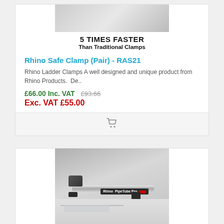[Figure (photo): Top portion of a product image showing a ladder clamp system with text '5 TIMES FASTER Than Traditional Clamps']
5 TIMES FASTER
Than Traditional Clamps
Rhino Safe Clamp (Pair) - RAS21
Rhino Ladder Clamps A well designed and unique product from Rhino Products.  De..
£66.00 Inc. VAT  £93.66
Exc. VAT £55.00
[Figure (photo): Photo of a Rhino PipeTube Pro roof rack system mounted on a white van, showing silver tube with black Rhino PipeTube Pro branding label and mounting clamps]